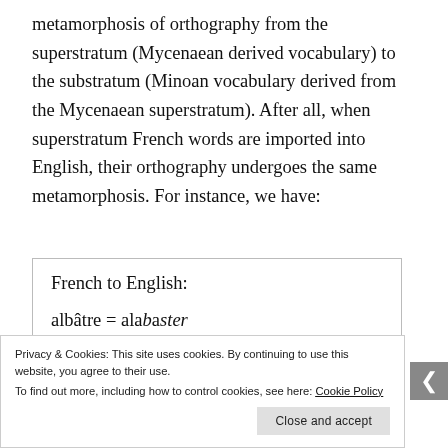metamorphosis of orthography from the superstratum (Mycenaean derived vocabulary) to the substratum (Minoan vocabulary derived from the Mycenaean superstratum). After all, when superstratum French words are imported into English, their orthography undergoes the same metamorphosis. For instance, we have:
French to English:

albâtre = alabaster
amical = amicable
Privacy & Cookies: This site uses cookies. By continuing to use this website, you agree to their use.
To find out more, including how to control cookies, see here: Cookie Policy

Close and accept